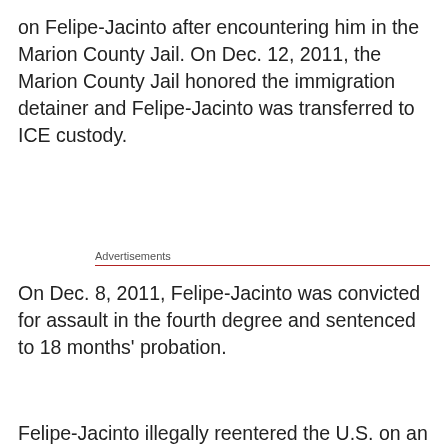on Felipe-Jacinto after encountering him in the Marion County Jail. On Dec. 12, 2011, the Marion County Jail honored the immigration detainer and Felipe-Jacinto was transferred to ICE custody.
Advertisements
On Dec. 8, 2011, Felipe-Jacinto was convicted for assault in the fourth degree and sentenced to 18 months' probation.
Privacy & Cookies: This site uses cookies. By continuing to use this website, you agree to their use.
To find out more, including how to control cookies, see here: Cookie Policy
Close and accept
Felipe-Jacinto illegally reentered the U.S. on an unknown